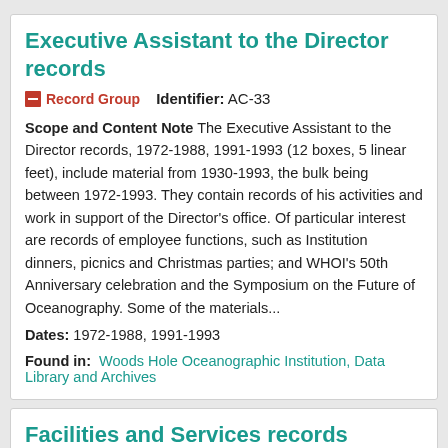Executive Assistant to the Director records
Record Group   Identifier: AC-33
Scope and Content Note The Executive Assistant to the Director records, 1972-1988, 1991-1993 (12 boxes, 5 linear feet), include material from 1930-1993, the bulk being between 1972-1993. They contain records of his activities and work in support of the Director's office. Of particular interest are records of employee functions, such as Institution dinners, picnics and Christmas parties; and WHOI's 50th Anniversary celebration and the Symposium on the Future of Oceanography. Some of the materials...
Dates: 1972-1988, 1991-1993
Found in: Woods Hole Oceanographic Institution, Data Library and Archives
Facilities and Services records
Collection   Identifier: AC-38